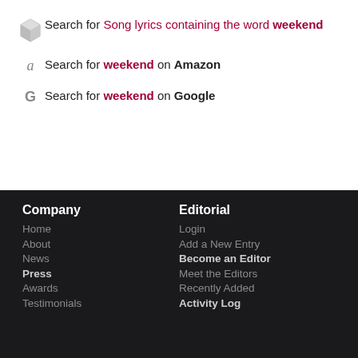Search for Song lyrics containing the word weekend
Search for weekend on Amazon
Search for weekend on Google
Company
Editorial
Home
Login
About
Add a New Entry
News
Become an Editor
Press
Meet the Editors
Awards
Recently Added
Testimonials
Activity Log